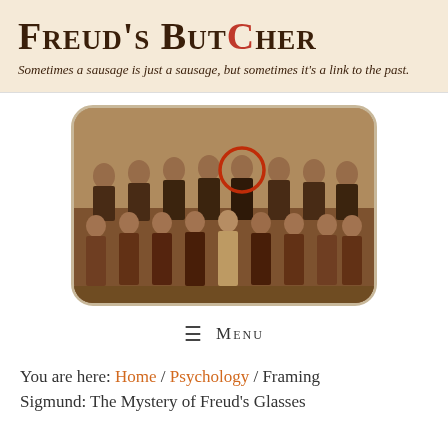Freud's Butcher
Sometimes a sausage is just a sausage, but sometimes it's a link to the past.
[Figure (photo): Sepia-toned group photograph of approximately 16 people (men standing in back row, women seated in front row), dressed in formal 1920s-1930s attire. One man in the back row is circled in red.]
≡  Menu
You are here: Home / Psychology / Framing Sigmund: The Mystery of Freud's Glasses